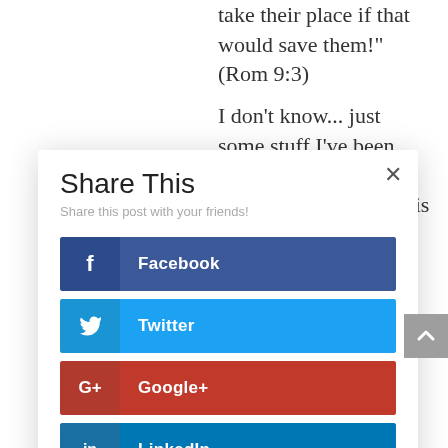take their place if that would save them!" (Rom 9:3)
I don't know... just some stuff I've been thinking about for awhile. Maybe (and this is pure speculation
Share This
Share this post with your friends!
Facebook
Twitter
Google+
LinkedIn